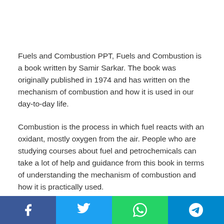Fuels and Combustion PPT, Fuels and Combustion is a book written by Samir Sarkar. The book was originally published in 1974 and has written on the mechanism of combustion and how it is used in our day-to-day life.
Combustion is the process in which fuel reacts with an oxidant, mostly oxygen from the air. People who are studying courses about fuel and petrochemicals can take a lot of help and guidance from this book in terms of understanding the mechanism of combustion and how it is practically used.
Fuels and Combustion PPT